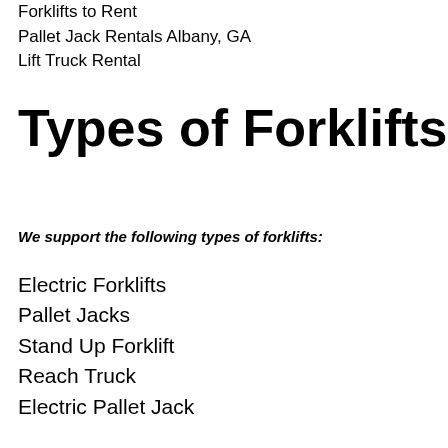Forklifts to Rent
Pallet Jack Rentals Albany, GA
Lift Truck Rental
Types of Forklifts
We support the following types of forklifts:
Electric Forklifts
Pallet Jacks
Stand Up Forklift
Reach Truck
Electric Pallet Jack